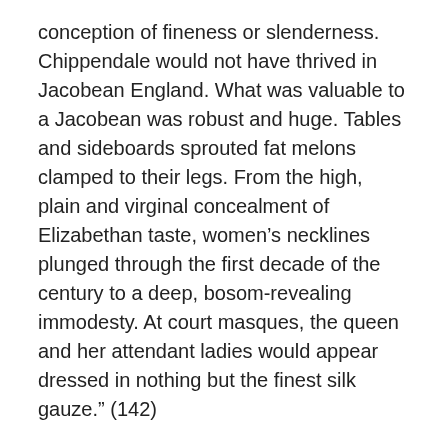conception of fineness or slenderness. Chippendale would not have thrived in Jacobean England. What was valuable to a Jacobean was robust and huge. Tables and sideboards sprouted fat melons clamped to their legs. From the high, plain and virginal concealment of Elizabethan taste, women's necklines plunged through the first decade of the century to a deep, bosom-revealing immodesty. At court masques, the queen and her attendant ladies would appear dressed in nothing but the finest silk gauze.” (142)
“No buildings in English history until the twentieth century had such enormous light-admitting windows as these great private prodigy houses. The rooms encrusted with the beloved substantiality were also flooded with the all-revealing light. . . . here, even with the luxury and thickness of the Turkey carpet underfoot and the Venetian